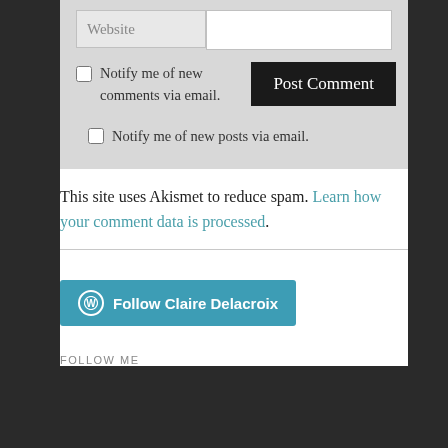[Figure (screenshot): Website label input field and blank text input field]
Notify me of new comments via email.
Post Comment
Notify me of new posts via email.
This site uses Akismet to reduce spam. Learn how your comment data is processed.
[Figure (logo): Follow Claire Delacroix button with WordPress logo in teal]
FOLLOW ME